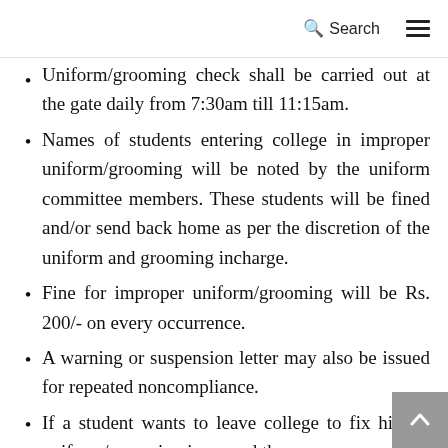Search
Uniform/grooming check shall be carried out at the gate daily from 7:30am till 11:15am.
Names of students entering college in improper uniform/grooming will be noted by the uniform committee members. These students will be fined and/or send back home as per the discretion of the uniform and grooming incharge.
Fine for improper uniform/grooming will be Rs. 200/- on every occurrence.
A warning or suspension letter may also be issued for repeated noncompliance.
If a student wants to leave college to fix his/her uniform/grooming issue and then